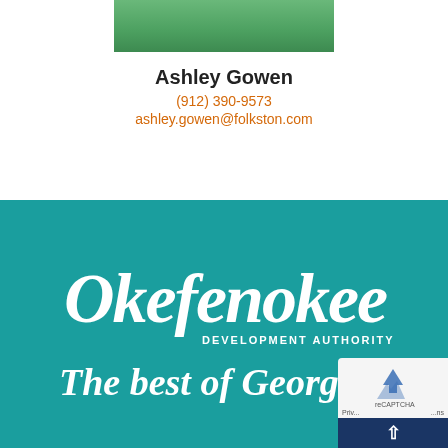[Figure (photo): Partial photo of Ashley Gowen wearing a green top, cropped at top of page]
Ashley Gowen
(912) 390-9573
ashley.gowen@folkston.com
[Figure (logo): Okefenokee Development Authority logo with script text and tagline 'The best of Georgia starts here' on teal background]